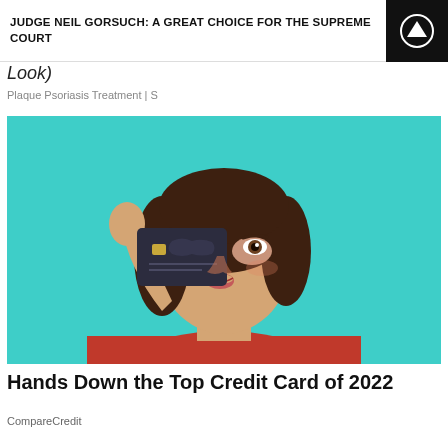JUDGE NEIL GORSUCH: A GREAT CHOICE FOR THE SUPREME COURT
Look)
Plaque Psoriasis Treatment | S
[Figure (photo): Woman in red sweater holding a dark credit card up to her eye, against a teal background]
Hands Down the Top Credit Card of 2022
CompareCredit